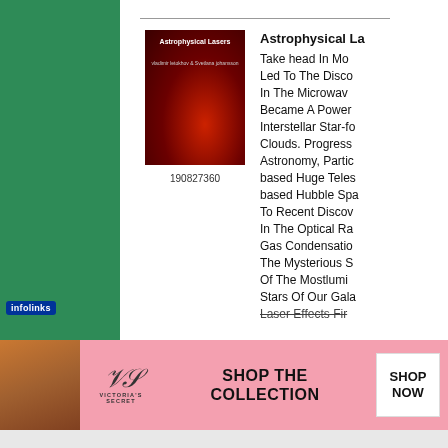[Figure (screenshot): Screenshot of a book listing page showing 'Astrophysical Lasers' book cover (dark red nebula background with white text) with ISBN 190827360, alongside truncated descriptive text starting with 'Take head In Mo...' continuing with references to Microwave, Interstellar Star-forming Clouds, Astronomy, Particle, Huge Telescopes, Hubble Space, Optical, Gas Condensation, Mysterious, Mostluminous Stars, Galaxy, Laser Effects. Green sidebar on left, Victoria's Secret advertisement banner at bottom.]
190827360
Astrophysical La
Take head In Mo Led To The Disco In The Microwav Became A Power Interstellar Star-fo Clouds. Progress Astronomy, Partic based Huge Teles based Hubble Spa To Recent Discov In The Optical Ra Gas Condensatio The Mysterious S Of The Mostlumi Stars Of Our Gala Laser Effects Fir
[Figure (screenshot): Victoria's Secret advertisement banner with pink background, photo of woman, VS logo, 'SHOP THE COLLECTION' text, and 'SHOP NOW' button]